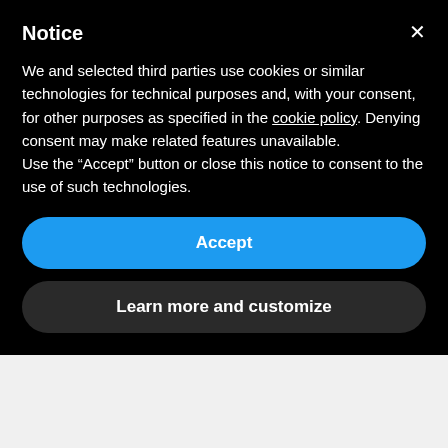Notice
We and selected third parties use cookies or similar technologies for technical purposes and, with your consent, for other purposes as specified in the cookie policy. Denying consent may make related features unavailable.
Use the “Accept” button or close this notice to consent to the use of such technologies.
Accept
Learn more and customize
24, 2018
Now more than ever the British TV industry is a cauldron of talents, and you never know when the next rising star is going to shine. One of the names to keep an eye on is most certainly the young actor Louie Threlfall, who’s recently starred in the BBC drama series “Age Before Beauty” written by Debbie